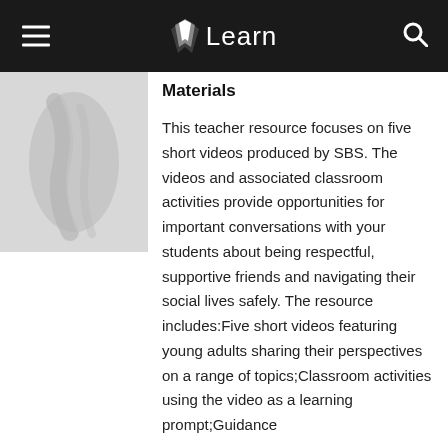Learn
[Figure (photo): Grayscale thumbnail image of a hand or abstract shape on light background]
Materials
This teacher resource focuses on five short videos produced by SBS. The videos and associated classroom activities provide opportunities for important conversations with your students about being respectful, supportive friends and navigating their social lives safely. The resource includes:Five short videos featuring young adults sharing their perspectives on a range of topics;Classroom activities using the video as a learning prompt;Guidance